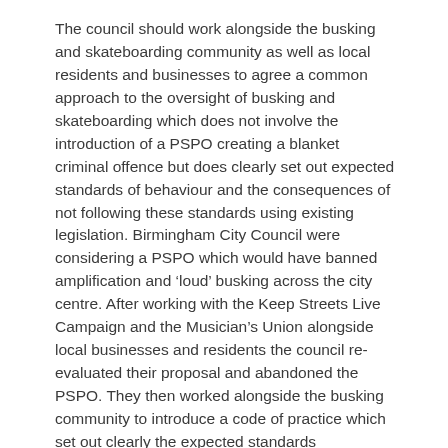The council should work alongside the busking and skateboarding community as well as local residents and businesses to agree a common approach to the oversight of busking and skateboarding which does not involve the introduction of a PSPO creating a blanket criminal offence but does clearly set out expected standards of behaviour and the consequences of not following these standards using existing legislation. Birmingham City Council were considering a PSPO which would have banned amplification and ‘loud’ busking across the city centre. After working with the Keep Streets Live Campaign and the Musician’s Union alongside local businesses and residents the council re-evaluated their proposal and abandoned the PSPO. They then worked alongside the busking community to introduce a code of practice which set out clearly the expected standards